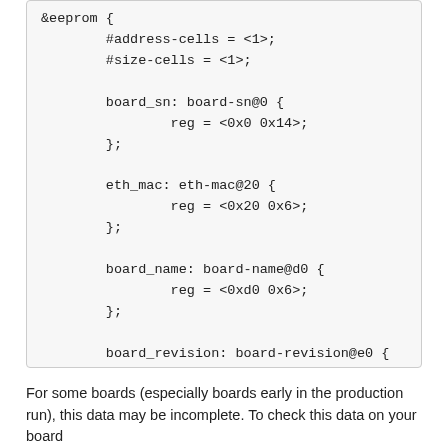&eeprom {
        #address-cells = <1>;
        #size-cells = <1>;

        board_sn: board-sn@0 {
                reg = <0x0 0x14>;
        };

        eth_mac: eth-mac@20 {
                reg = <0x20 0x6>;
        };

        board_name: board-name@d0 {
                reg = <0xd0 0x6>;
        };

        board_revision: board-revision@e0 {
                reg = <0xe0 0x3>;
        };
};
For some boards (especially boards early in the production run), this data may be incomplete. To check this data on your board